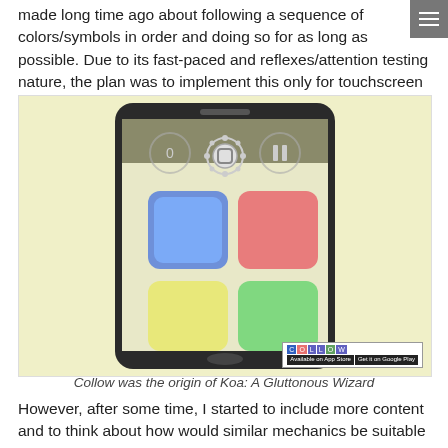made long time ago about following a sequence of colors/symbols in order and doing so for as long as possible. Due to its fast-paced and reflexes/attention testing nature, the plan was to implement this only for touchscreen devices.
[Figure (screenshot): Screenshot of the Collow mobile app showing a smartphone with four colored square buttons (blue, pink/red, yellow, green) and a gear icon in the center top area, with a score of 0 and pause button. A Collow app store badge is visible in the bottom right corner.]
Collow was the origin of Koa: A Gluttonous Wizard
However, after some time, I started to include more content and to think about how would similar mechanics be suitable for other devices, especially computers or consoles. I wanted to